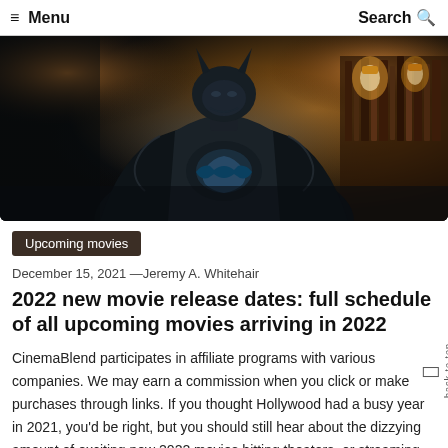≡ Menu   Search
[Figure (photo): Batman character in dark armored suit with bat symbol on chest, standing in dimly lit room with warm amber lighting and bookshelves in background]
Upcoming movies
December 15, 2021 —Jeremy A. Whitehair
2022 new movie release dates: full schedule of all upcoming movies arriving in 2022
CinemaBlend participates in affiliate programs with various companies. We may earn a commission when you click or make purchases through links. If you thought Hollywood had a busy year in 2021, you'd be right, but you should still hear about the dizzying amount of exciting new 2022 movies hitting theaters, or streaming,